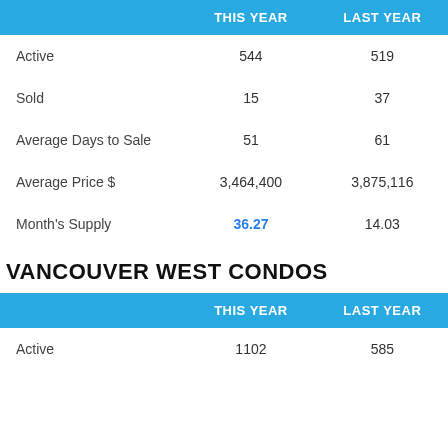|  | THIS YEAR | LAST YEAR |
| --- | --- | --- |
| Active | 544 | 519 |
| Sold | 15 | 37 |
| Average Days to Sale | 51 | 61 |
| Average Price $ | 3,464,400 | 3,875,116 |
| Month's Supply | 36.27 | 14.03 |
VANCOUVER WEST CONDOS
|  | THIS YEAR | LAST YEAR |
| --- | --- | --- |
| Active | 1102 | 585 |